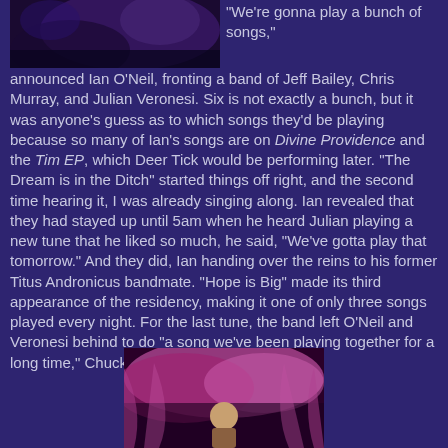[Figure (photo): Concert photo top left, dark blue/purple stage lighting]
"We're gonna play a bunch of songs," announced Ian O'Neil, fronting a band of Jeff Bailey, Chris Murray, and Julian Veronesi. Six is not exactly a bunch, but it was anyone's guess as to which songs they'd be playing because so many of Ian's songs are on Divine Providence and the Tim EP, which Deer Tick would be performing later. "The Dream is in the Ditch" started things off right, and the second time hearing it, I was already singing along. Ian revealed that they had stayed up until 5am when he heard Julian playing a new tune that he liked so much, he said, "We've gotta play that tomorrow." And they did, Ian handing over the reins to his former Titus Andronicus bandmate. "Hope is Big" made its third appearance of the residency, making it one of only three songs played every night. For the last tune, the band left O'Neil and Veronesi behind to do "a song we've been playing together for a long time," Chuck Berry's "Maybelline."
[Figure (photo): Concert photo bottom center, performer on stage with pink/magenta curtain backdrop]